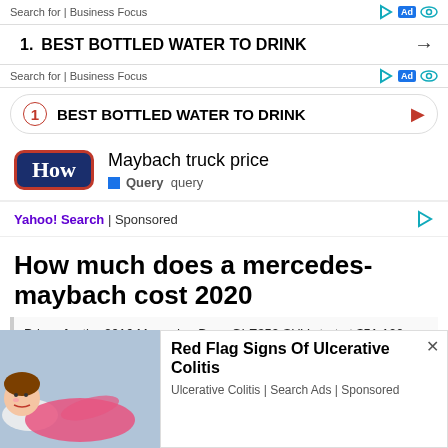Search for | Business Focus
1. BEST BOTTLED WATER TO DRINK →
Search for | Business Focus
1 BEST BOTTLED WATER TO DRINK ▶
[Figure (logo): How.com logo - dark blue rounded rectangle with 'How' text in white]
Maybach truck price
Query  query
Yahoo! Search | Sponsored
How much does a mercedes-maybach cost 2020
Prices for the 2016 Mercedes-Benz GLE350 SUV start at $51,100. Pricing for the 2016 Mercedes-Benz GLE-Cl...
[Figure (illustration): Person lying down in pain, cartoon illustration]
Red Flag Signs Of Ulcerative Colitis
Ulcerative Colitis | Search Ads | Sponsored
Class... | Business Focus
1. BEST BOTTLED WATER TO DRINK →